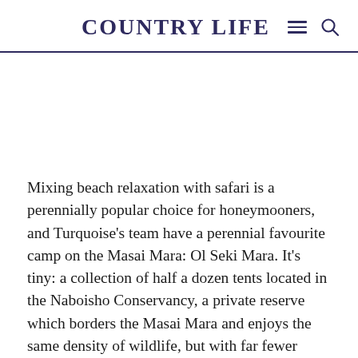COUNTRY LIFE
Mixing beach relaxation with safari is a perennially popular choice for honeymooners, and Turquoise’s team have a perennial favourite camp on the Masai Mara: Ol Seki Mara. It’s tiny: a collection of half a dozen tents located in the Naboisho Conservancy, a private reserve which borders the Masai Mara and enjoys the same density of wildlife, but with far fewer vehicles than the main reserve. The